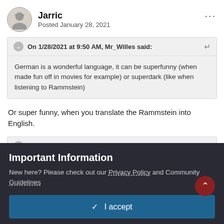Jarric
Posted January 28, 2021
On 1/28/2021 at 9:50 AM, Mr_Willes said:
German is a wonderful language, it can be superfunny (when made fun off in movies for example) or superdark (like when listening to Rammstein)
Or super funny, when you translate the Rammstein into English.
On 1/28/2021 at 9:46 AM, Mr_Willes said:
Important Information
New here? Please check out our Privacy Policy and Community Guidelines
✓ I accept